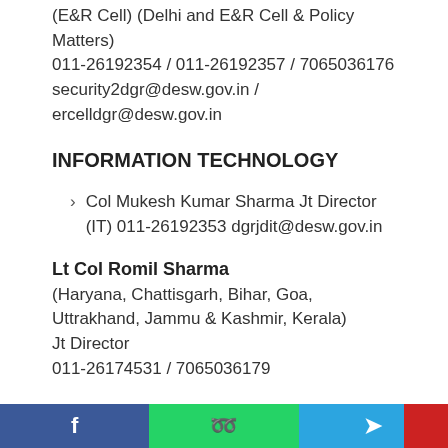(E&R Cell) (Delhi and E&R Cell & Policy Matters)
011-26192354 / 011-26192357 / 7065036176
security2dgr@desw.gov.in / ercelldgr@desw.gov.in
INFORMATION TECHNOLOGY
Col Mukesh Kumar Sharma Jt Director (IT) 011-26192353 dgrjdit@desw.gov.in
Lt Col Romil Sharma
(Haryana, Chattisgarh, Bihar, Goa, Uttrakhand, Jammu & Kashmir, Kerala)
Jt Director
011-26174531 / 7065036179